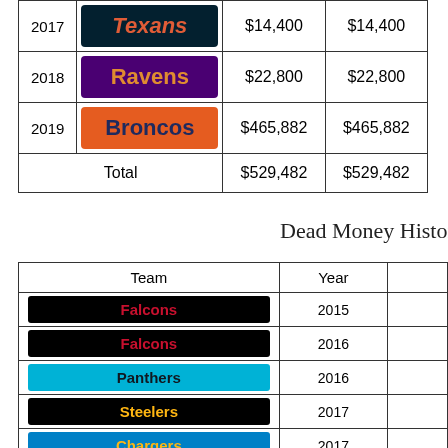| Year | Team | Amount | Amount2 |
| --- | --- | --- | --- |
| 2017 | Texans | $14,400 | $14,400 |
| 2018 | Ravens | $22,800 | $22,800 |
| 2019 | Broncos | $465,882 | $465,882 |
| Total |  | $529,482 | $529,482 |
Dead Money Histor
| Team | Year |  |
| --- | --- | --- |
| Falcons | 2015 |  |
| Falcons | 2016 |  |
| Panthers | 2016 |  |
| Steelers | 2017 |  |
| Chargers | 2017 |  |
| Steelers | 2017 |  |
| Steelers | 2017 |  |
| Chargers | 2019 |  |
| Broncos | 2020 |  |